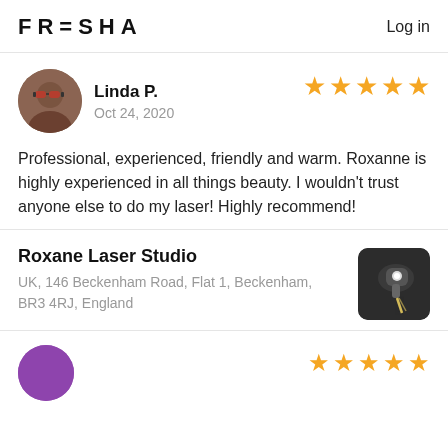FRESHA   Log in
Linda P.
Oct 24, 2020
Professional, experienced, friendly and warm. Roxanne is highly experienced in all things beauty. I wouldn't trust anyone else to do my laser! Highly recommend!
Roxane Laser Studio
UK, 146 Beckenham Road, Flat 1, Beckenham, BR3 4RJ, England